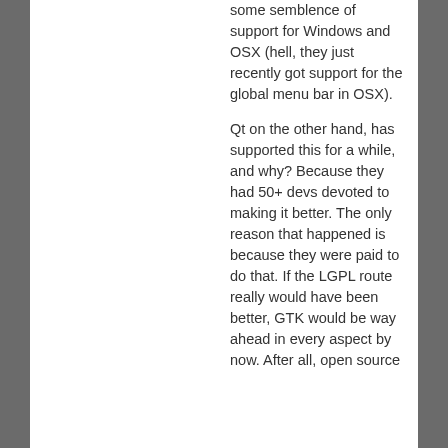some semblence of support for Windows and OSX (hell, they just recently got support for the global menu bar in OSX).
Qt on the other hand, has supported this for a while, and why? Because they had 50+ devs devoted to making it better. The only reason that happened is because they were paid to do that. If the LGPL route really would have been better, GTK would be way ahead in every aspect by now. After all, open source